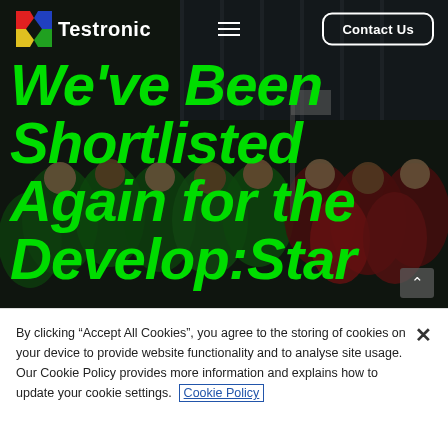[Figure (screenshot): Testronic website hero section showing a crowd of people in green and red t-shirts outside a building, with dark overlay. Navigation bar at top with Testronic logo, hamburger menu, and Contact Us button. Large green italic text reads 'We've Been Shortlisted Again for the Develop:Star']
Testronic | Contact Us
We've Been Shortlisted Again for the Develop:Star
By clicking “Accept All Cookies”, you agree to the storing of cookies on your device to provide website functionality and to analyse site usage. Our Cookie Policy provides more information and explains how to update your cookie settings. Cookie Policy